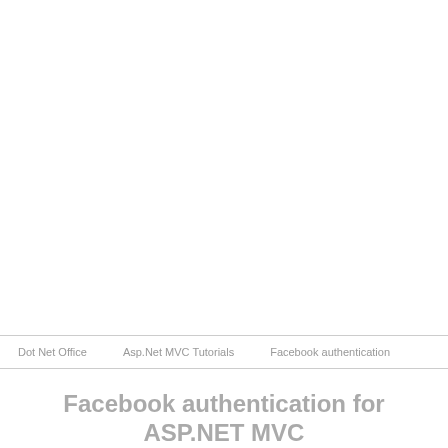Dot Net Office | Asp.Net MVC Tutorials | Facebook authentication
Facebook authentication for ASP.NET MVC Application